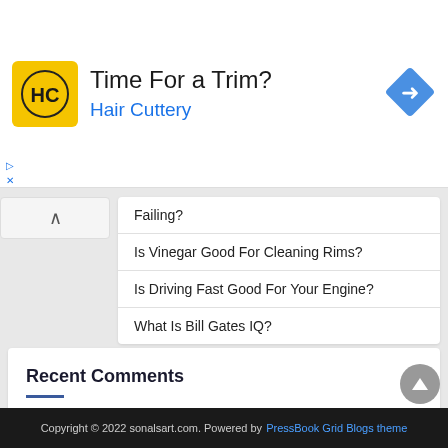[Figure (other): Hair Cuttery advertisement banner with logo (yellow background, HC letters), title 'Time For a Trim?', subtitle 'Hair Cuttery' in blue, and a blue navigation arrow diamond icon on the right]
Failing?
Is Vinegar Good For Cleaning Rims?
Is Driving Fast Good For Your Engine?
What Is Bill Gates IQ?
Recent Comments
No comments to show.
Copyright © 2022 sonalsart.com. Powered by PressBook Grid Blogs theme